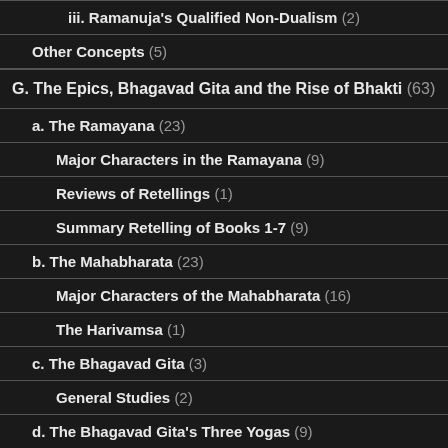iii. Ramanuja's Qualified Non-Dualism (2)
Other Concepts (5)
G. The Epics, Bhagavad Gita and the Rise of Bhakti (63)
a. The Ramayana (23)
Major Characters in the Ramayana (9)
Reviews of Retellings (1)
Summary Retelling of Books 1-7 (9)
b. The Mahabharata (23)
Major Characters of the Mahabharata (16)
The Harivamsa (1)
c. The Bhagavad Gita (3)
General Studies (2)
d. The Bhagavad Gita's Three Yogas (9)